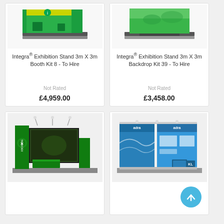[Figure (photo): Integra Exhibition Stand 3m X 3m Booth Kit 8 product photo, green and yellow booth]
Integra® Exhibition Stand 3m X 3m Booth Kit 8 - To Hire
Not Rated
£4,959.00
[Figure (photo): Integra Exhibition Stand 3m X 3m Backdrop Kit 39 product photo, green display]
Integra® Exhibition Stand 3m X 3m Backdrop Kit 39 - To Hire
Not Rated
£3,458.00
[Figure (photo): Xbox One branded green exhibition stand booth photo]
[Figure (photo): Blue and white Adra branded exhibition stand booth photo]